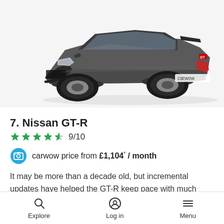[Figure (photo): Nissan GT-R sports car in dark grey/gunmetal color, three-quarter front view on white background, with carwow watermark]
7. Nissan GT-R
★★★★½ 9/10
carwow price from £1,104* / month
It may be more than a decade old, but incremental updates have helped the GT-R keep pace with much
Explore   Log in   Menu